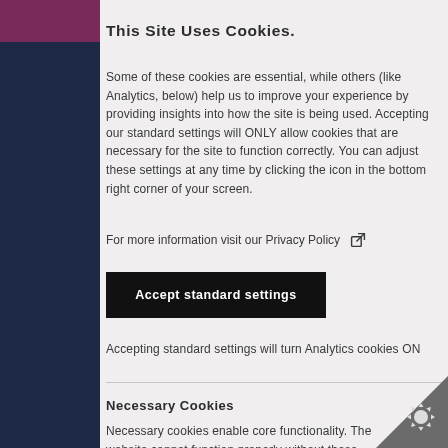This Site Uses Cookies.
Some of these cookies are essential, while others (like Analytics, below) help us to improve your experience by providing insights into how the site is being used. Accepting our standard settings will ONLY allow cookies that are necessary for the site to function correctly. You can adjust these settings at any time by clicking the icon in the bottom right corner of your screen.
For more information visit our Privacy Policy
Accept standard settings
Accepting standard settings will turn Analytics cookies ON
Necessary Cookies
Necessary cookies enable core functionality. The website cannot function properly without these cookies, and can only be disabled by changing your browser preferences.